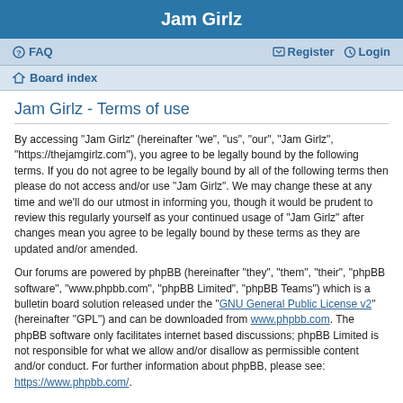Jam Girlz
FAQ   Register   Login
Board index
Jam Girlz - Terms of use
By accessing “Jam Girlz” (hereinafter “we”, “us”, “our”, “Jam Girlz”, “https://thejamgirlz.com”), you agree to be legally bound by the following terms. If you do not agree to be legally bound by all of the following terms then please do not access and/or use “Jam Girlz”. We may change these at any time and we’ll do our utmost in informing you, though it would be prudent to review this regularly yourself as your continued usage of “Jam Girlz” after changes mean you agree to be legally bound by these terms as they are updated and/or amended.
Our forums are powered by phpBB (hereinafter “they”, “them”, “their”, “phpBB software”, “www.phpbb.com”, “phpBB Limited”, “phpBB Teams”) which is a bulletin board solution released under the “GNU General Public License v2” (hereinafter “GPL”) and can be downloaded from www.phpbb.com. The phpBB software only facilitates internet based discussions; phpBB Limited is not responsible for what we allow and/or disallow as permissible content and/or conduct. For further information about phpBB, please see: https://www.phpbb.com/.